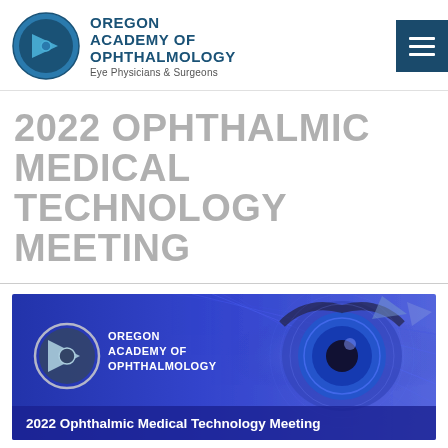[Figure (logo): Oregon Academy of Ophthalmology logo: circular blue icon with a triangle/eye symbol and organization name text]
2022 OPHTHALMIC MEDICAL TECHNOLOGY MEETING
[Figure (photo): Banner image showing Oregon Academy of Ophthalmology logo on the left and a glowing eye with futuristic digital/tech background on the right. Caption reads: 2022 Ophthalmic Medical Technology Meeting]
2022 Ophthalmic Medical Technology Meeting
In-Person Meeting!